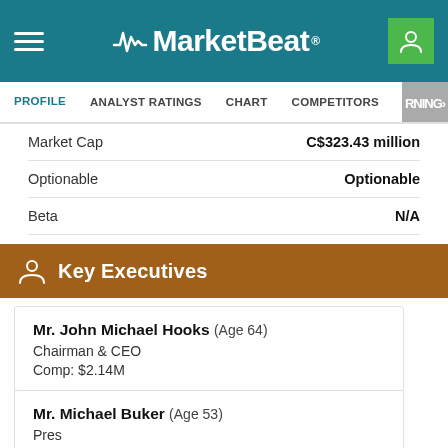MarketBeat
PROFILE | ANALYST RATINGS | CHART | COMPETITORS | DIVIDEND | EARNINGS
|  |  |
| --- | --- |
| Market Cap | C$323.43 million |
| Optionable | Optionable |
| Beta | N/A |
Key Executives
Mr. John Michael Hooks (Age 64)
Chairman & CEO
Comp: $2.14M
Mr. Michael Buker (Age 53)
Pres
Comp: $1.97M